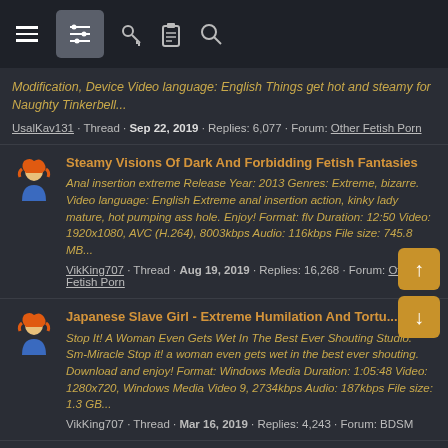Navigation bar with menu, filter, clipboard, search icons
Modification, Device Video language: English Things get hot and steamy for Naughty Tinkerbell...
UsalKav131 · Thread · Sep 22, 2019 · Replies: 6,077 · Forum: Other Fetish Porn
Steamy Visions Of Dark And Forbidding Fetish Fantasies
Anal insertion extreme Release Year: 2013 Genres: Extreme, bizarre. Video language: English Extreme anal insertion action, kinky lady mature, hot pumping ass hole. Enjoy! Format: flv Duration: 12:50 Video: 1920x1080, AVC (H.264), 8003kbps Audio: 116kbps File size: 745.8 MB...
VikKing707 · Thread · Aug 19, 2019 · Replies: 16,268 · Forum: Other Fetish Porn
Japanese Slave Girl - Extreme Humilation And Tortu...
Stop It! A Woman Even Gets Wet In The Best Ever Shouting Studio. Sm-Miracle Stop it! a woman even gets wet in the best ever shouting. Download and enjoy! Format: Windows Media Duration: 1:05:48 Video: 1280x720, Windows Media Video 9, 2734kbps Audio: 187kbps File size: 1.3 GB...
VikKing707 · Thread · Mar 16, 2019 · Replies: 4,243 · Forum: BDSM